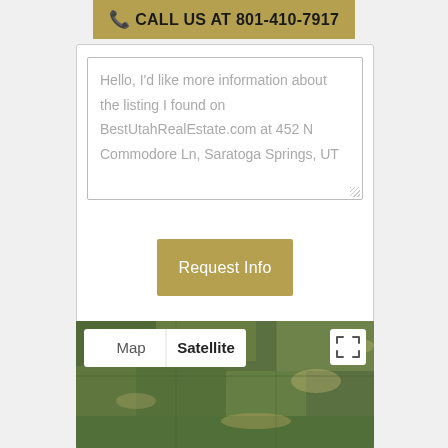📞 CALL US AT 801-410-7917
Hello, I'd like more information about the listing I found on BestUtahRealEstate.com at 452 N Commodore Ln, Saratoga Springs, UT
Request Info
[Figure (map): Satellite map view showing aerial imagery of land in Saratoga Springs, UT with Map and Satellite toggle buttons and fullscreen button]